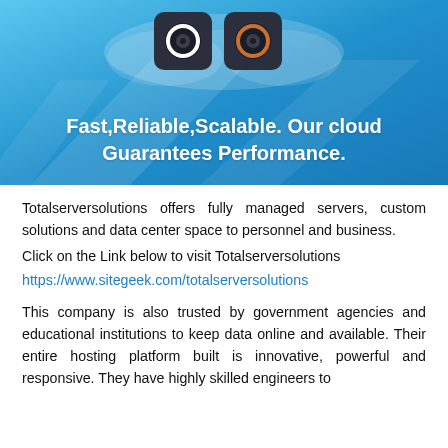[Figure (illustration): Blue cloud hosting banner with two dark camera/server icons at the top and bold white text reading 'Fast,Reliable,Scalable. Our cloud Guarantees Performance.']
Totalserversolutions offers fully managed servers, custom solutions and data center space to personnel and business.
Click on the Link below to visit Totalserversolutions
https://www.sitegeek.com/totalserversolutions
This company is also trusted by government agencies and educational institutions to keep data online and available. Their entire hosting platform built is innovative, powerful and responsive. They have highly skilled engineers to